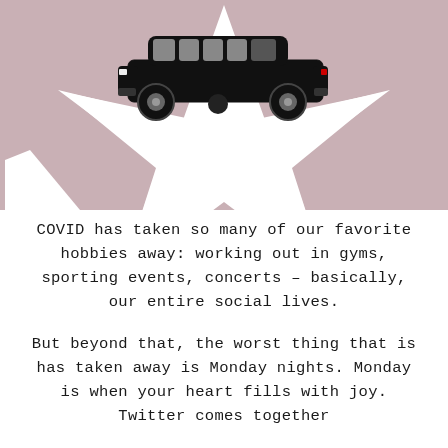[Figure (illustration): A black illustrated limousine on top of a large white star shape, set against a dusty rose/mauve background with additional star shapes partially visible.]
COVID has taken so many of our favorite hobbies away: working out in gyms, sporting events, concerts – basically, our entire social lives.
But beyond that, the worst thing that is has taken away is Monday nights. Monday is when your heart fills with joy. Twitter comes together